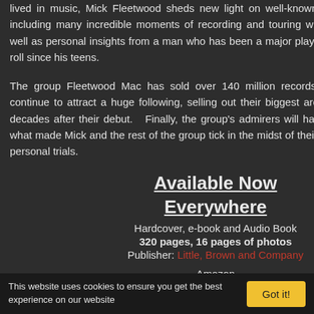lived in music, Mick Fleetwood sheds new light on well-known points in his history, including many incredible moments of recording and touring with Fleetwood Mac, as well as personal insights from a man who has been a major player in blues and rock 'n' roll since his teens.
The group Fleetwood Mac has sold over 140 million records worldwide, and they continue to attract a huge following, selling out their biggest arena tour ever in 2013, decades after their debut. Finally, the group's admirers will have a unique portrait of what made Mick and the rest of the group tick in the midst of their massive success and personal trials.
Available Now Everywhere
Hardcover, e-book and Audio Book
320 pages, 16 pages of photos
Publisher: Little, Brown and Company
Amazon
Canada | USA | UK
16 January 2013 at 2...
Anonymous said...
"As Long As You Foll...
The video is visually...
"Paper Doll" on the o...
16 January 2013 at 2...
Anonymous said...
Didn't use the term "i... of their era, Fleetwo... band over long 12 ye... realistic here. "Drea...
17 January 2013 at 0...
Anonymous said...
I also thing the SKIES... compared to what Li...
This website uses cookies to ensure you get the best experience on our website